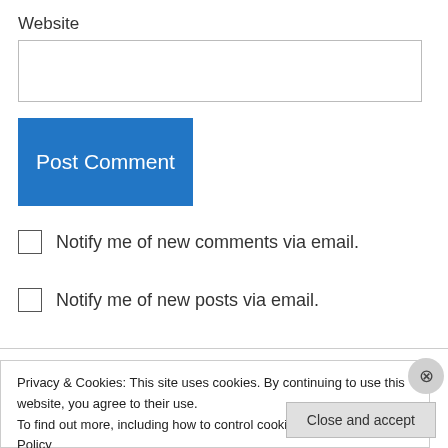Website
[Figure (screenshot): Empty text input field for website URL]
[Figure (screenshot): Blue 'Post Comment' button]
Notify me of new comments via email.
Notify me of new posts via email.
dollfaceandcookie on March 26, 2012 at 5:03 pm
Privacy & Cookies: This site uses cookies. By continuing to use this website, you agree to their use.
To find out more, including how to control cookies, see here: Cookie Policy
[Figure (screenshot): Close and accept button]